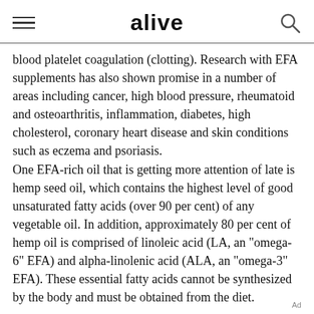alive
blood platelet coagulation (clotting). Research with EFA supplements has also shown promise in a number of areas including cancer, high blood pressure, rheumatoid and osteoarthritis, inflammation, diabetes, high cholesterol, coronary heart disease and skin conditions such as eczema and psoriasis. One EFA-rich oil that is getting more attention of late is hemp seed oil, which contains the highest level of good unsaturated fatty acids (over 90 per cent) of any vegetable oil. In addition, approximately 80 per cent of hemp oil is comprised of linoleic acid (LA, an "omega-6" EFA) and alpha-linolenic acid (ALA, an "omega-3" EFA). These essential fatty acids cannot be synthesized by the body and must be obtained from the diet.